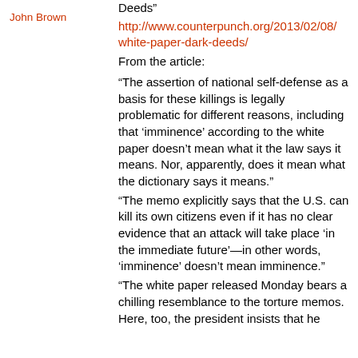John Brown
Deeds”
http://www.counterpunch.org/2013/02/08/white-paper-dark-deeds/
From the article:
“The assertion of national self-defense as a basis for these killings is legally problematic for different reasons, including that ‘imminence’ according to the white paper doesn’t mean what it the law says it means. Nor, apparently, does it mean what the dictionary says it means.”
“The memo explicitly says that the U.S. can kill its own citizens even if it has no clear evidence that an attack will take place ‘in the immediate future’—in other words, ‘imminence’ doesn’t mean imminence.”
“The white paper released Monday bears a chilling resemblance to the torture memos. Here, too, the president insists that he